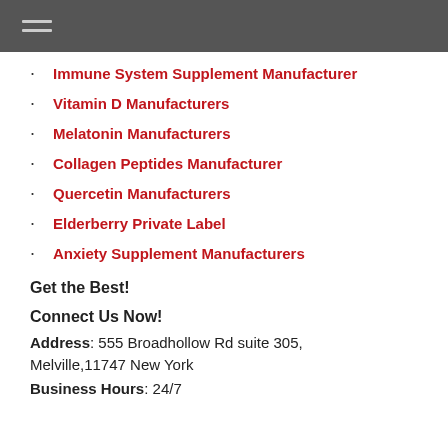Immune System Supplement Manufacturer
Vitamin D Manufacturers
Melatonin Manufacturers
Collagen Peptides Manufacturer
Quercetin Manufacturers
Elderberry Private Label
Anxiety Supplement Manufacturers
Get the Best!
Connect Us Now!
Address: 555 Broadhollow Rd suite 305, Melville,11747 New York
Business Hours: 24/7